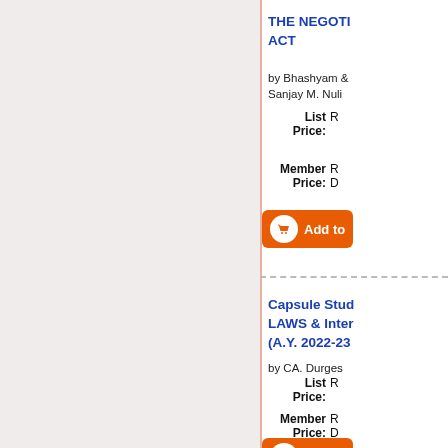THE NEGOTIABLE INSTRUMENTS ACT
by Bhashyam & Sanjay M. Nuli
List Price: R
Member Price: R D
[Figure (other): Orange Add to Cart button with shopping cart icon]
Capsule Study LAWS & International (A.Y. 2022-23
by CA. Durges
List Price: R
Member Price: R D
[Figure (other): Orange Add to Cart button (partial)]